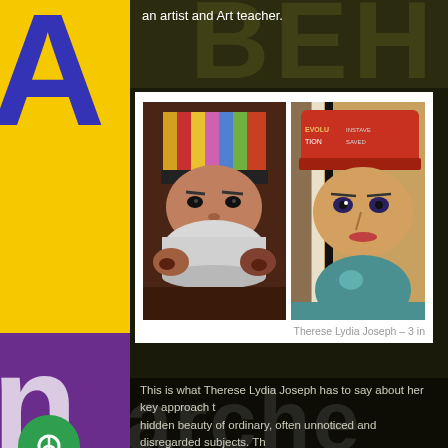an artist and Art teacher.
[Figure (photo): Two colorful painted portraits side by side. Left: person drinking from a white cup wearing a multicolored striped beanie hat. Right: person wearing a red hat with text, holding a teal/blue rounded object.]
Therese Lydia Joseph – 3 in
This is what Therese Lydia Joseph has to say about her key approach t... hidden beauty of ordinary, often unnoticed and disregarded subjects. Th... they include my fellow humans I bump into every day. I get caught up in... shape or form, colour or pattern, disposition or mood.